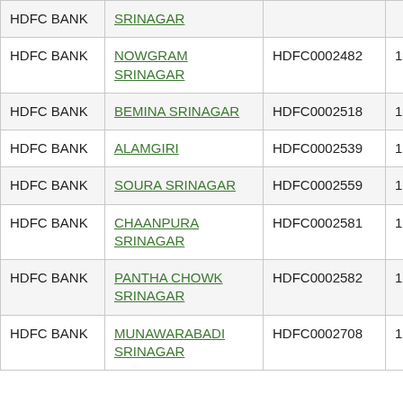| HDFC BANK | SRINAGAR |  |  |
| HDFC BANK | NOWGRAM SRINAGAR | HDFC0002482 | 190240010 |
| HDFC BANK | BEMINA SRINAGAR | HDFC0002518 | 190240015 |
| HDFC BANK | ALAMGIRI | HDFC0002539 | 190240012 |
| HDFC BANK | SOURA SRINAGAR | HDFC0002559 | 190240007 |
| HDFC BANK | CHAANPURA SRINAGAR | HDFC0002581 | 190240014 |
| HDFC BANK | PANTHA CHOWK SRINAGAR | HDFC0002582 | 190240016 |
| HDFC BANK | MUNAWARABADI SRINAGAR | HDFC0002708 | 190240011 |